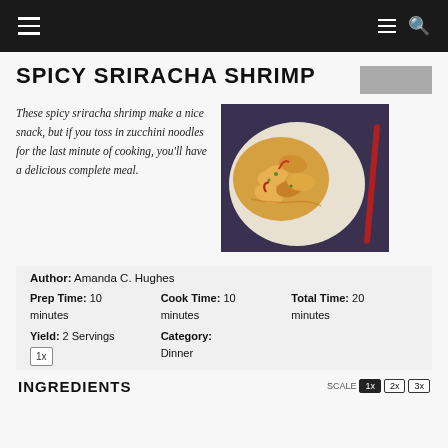SPICY SRIRACHA SHRIMP
These spicy sriracha shrimp make a nice snack, but if you toss in zucchini noodles for the last minute of cooking, you'll have a delicious complete meal.
[Figure (photo): A bowl of spicy sriracha shrimp with garnish, with a red utensil on the side.]
Author: Amanda C. Hughes
Prep Time: 10 minutes   Cook Time: 10 minutes   Total Time: 20 minutes
Yield: 2 Servings   Category: Dinner
INGREDIENTS